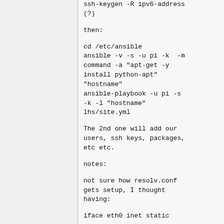ssh-keygen -R ipv6-address
(?)
then:
cd /etc/ansible
ansible -v -s -u pi -k  -m
command -a "apt-get -y
install python-apt"
"hostname"
ansible-playbook -u pi -s
-k -l "hostname"
lhs/site.yml
The 2nd one will add our
users, ssh keys, packages,
etc etc.
notes:
not sure how resolv.conf
gets setup, I thought
having:
iface eth0 inet static